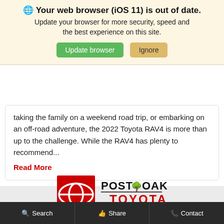🌐 Your web browser (iOS 11) is out of date. Update your browser for more security, speed and the best experience on this site.
taking the family on a weekend road trip, or embarking on an off-road adventure, the 2022 Toyota RAV4 is more than up to the challenge. While the RAV4 has plenty to recommend...
Read More
[Figure (logo): Post Oak Toyota dealer logo with red Toyota symbol and tree icon]
Search   Share   Contact